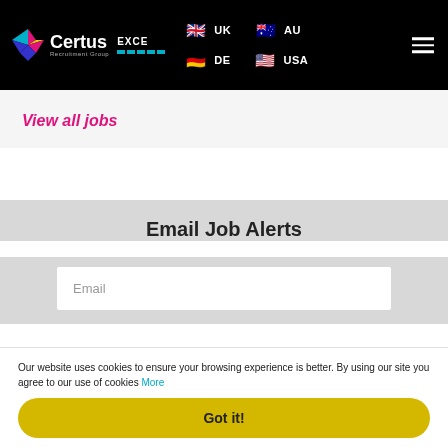Certus Recruitment Group — EXCE UK AU DE USA navigation header
View all jobs
Email Job Alerts
Email
Our website uses cookies to ensure your browsing experience is better. By using our site you agree to our use of cookies More
Got it!